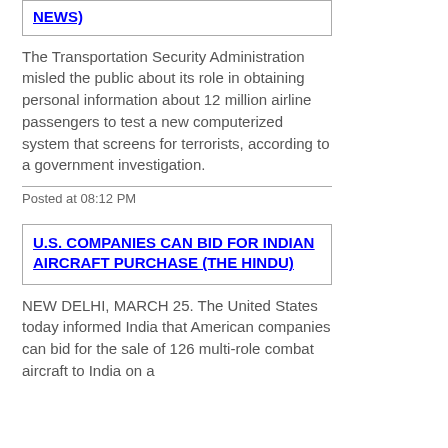...(AVIATION NEWS)
The Transportation Security Administration misled the public about its role in obtaining personal information about 12 million airline passengers to test a new computerized system that screens for terrorists, according to a government investigation.
Posted at 08:12 PM
U.S. COMPANIES CAN BID FOR INDIAN AIRCRAFT PURCHASE (THE HINDU)
NEW DELHI, MARCH 25. The United States today informed India that American companies can bid for the sale of 126 multi-role combat aircraft to India on a